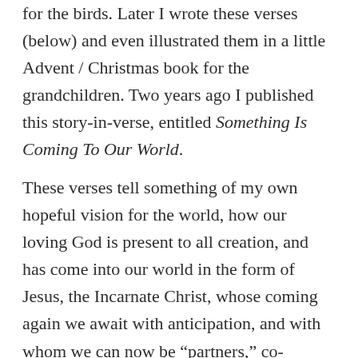for the birds. Later I wrote these verses (below) and even illustrated them in a little Advent / Christmas book for the grandchildren. Two years ago I published this story-in-verse, entitled Something Is Coming To Our World.
These verses tell something of my own hopeful vision for the world, how our loving God is present to all creation, and has come into our world in the form of Jesus, the Incarnate Christ, whose coming again we await with anticipation, and with whom we can now be “partners,” co-laborers, caring for creation and loving people.